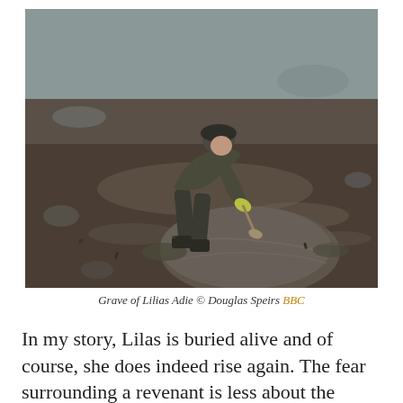[Figure (photo): A person wearing dark clothing and yellow-green gloves bends over a large stone or object embedded in dark muddy ground near a shoreline, appearing to brush or excavate it. The ground is wet and muddy with rocks and debris visible.]
Grave of Lilias Adie © Douglas Speirs BBC
In my story, Lilas is buried alive and of course, she does indeed rise again. The fear surrounding a revenant is less about the actions of the undead, but the ability to extend their corruption beyond themselves: zombies bite and create new zombies